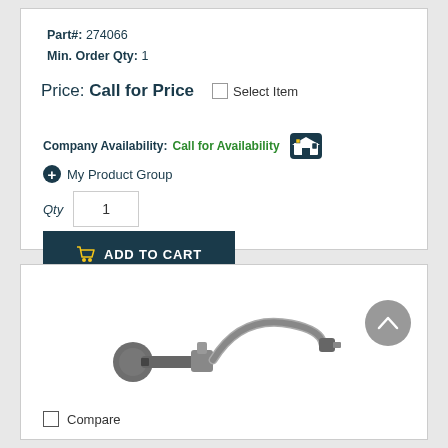Part#: 274066
Min. Order Qty: 1
Price: Call for Price
Select Item
Company Availability: Call for Availability
My Product Group
Qty 1
ADD TO CART
[Figure (photo): Product image of a flexible hose assembly with valve and fittings]
Compare